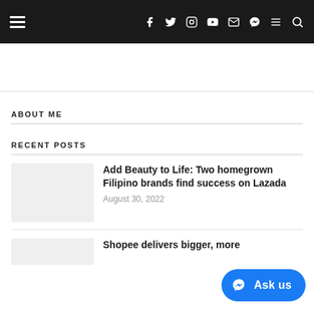Navigation bar with hamburger menu, social icons (Facebook, Twitter, Instagram, YouTube, Email, Viber), menu icon, search icon
ABOUT ME
RECENT POSTS
[Figure (other): Thumbnail placeholder image for post]
Add Beauty to Life: Two homegrown Filipino brands find success on Lazada
August 30, 2022
[Figure (other): Thumbnail placeholder image for second post]
Shopee delivers bigger, more
[Figure (other): Ask us button with Messenger icon]